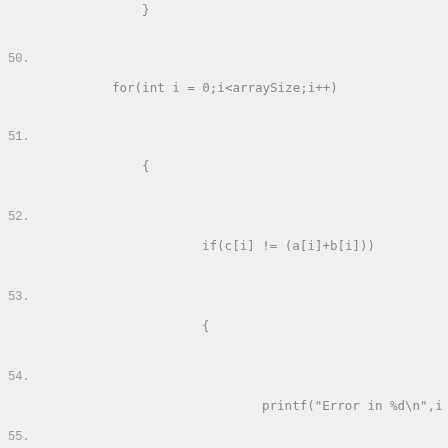}.
50.    for(int i = 0;i<arraySize;i++)
51.        {
52.            if(c[i] != (a[i]+b[i]))
53.            {
54.                printf("Error in %d\n",i
55.